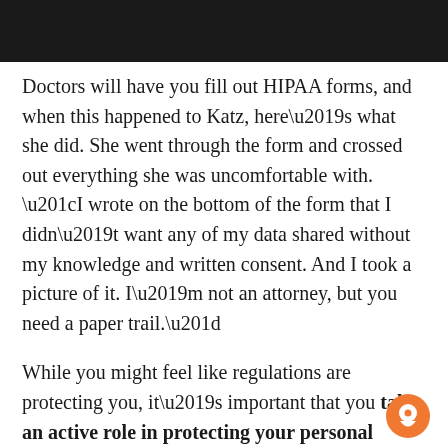[Figure (photo): Dark textured background image at the top of the page]
Doctors will have you fill out HIPAA forms, and when this happened to Katz, here’s what she did. She went through the form and crossed out everything she was uncomfortable with. “I wrote on the bottom of the form that I didn’t want any of my data shared without my knowledge and written consent. And I took a picture of it. I’m not an attorney, but you need a paper trail.”
While you might feel like regulations are protecting you, it’s important that you take an active role in protecting your personal information.